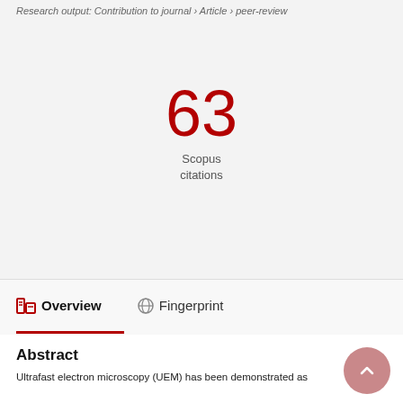Research output: Contribution to journal › Article › peer-review
63
Scopus
citations
Overview   Fingerprint
Abstract
Ultrafast electron microscopy (UEM) has been demonstrated as